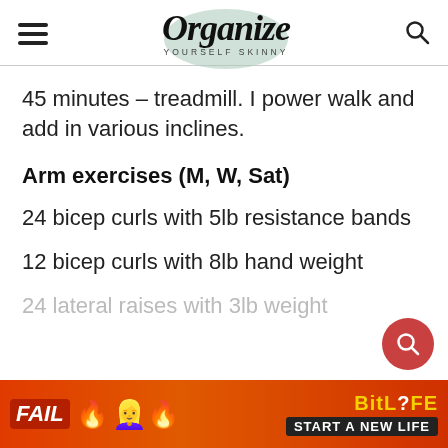Organize Yourself Skinny
45 minutes – treadmill. I power walk and add in various inclines.
Arm exercises (M, W, Sat)
24 bicep curls with 5lb resistance bands
12 bicep curls with 8lb hand weight
24 lateral raises with 3lb weight